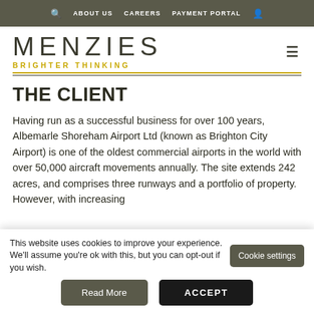ABOUT US   CAREERS   PAYMENT PORTAL
[Figure (logo): Menzies logo with text MENZIES and tagline BRIGHTER THINKING in gold]
THE CLIENT
Having run as a successful business for over 100 years, Albemarle Shoreham Airport Ltd (known as Brighton City Airport) is one of the oldest commercial airports in the world with over 50,000 aircraft movements annually. The site extends 242 acres, and comprises three runways and a portfolio of property. However, with increasing
This website uses cookies to improve your experience. We'll assume you're ok with this, but you can opt-out if you wish.